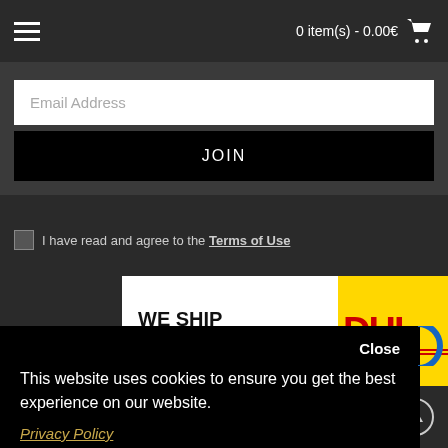0 item(s) - 0.00€
Email Address
JOIN
I have read and agree to the Terms of Use
[Figure (logo): WE SHIP WORLDWIDE WITH DHL logo banner on yellow background]
Close
This website uses cookies to ensure you get the best experience on our website.
Privacy Policy
Preferences
Accept